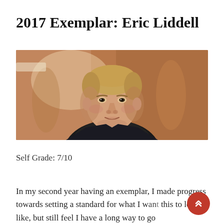2017 Exemplar: Eric Liddell
[Figure (photo): Portrait painting of Eric Liddell, a man with light hair, depicted from chest up against a warm brown background]
Self Grade: 7/10
In my second year having an exemplar, I made progress towards setting a standard for what I want this to look like, but still feel I have a long way to go